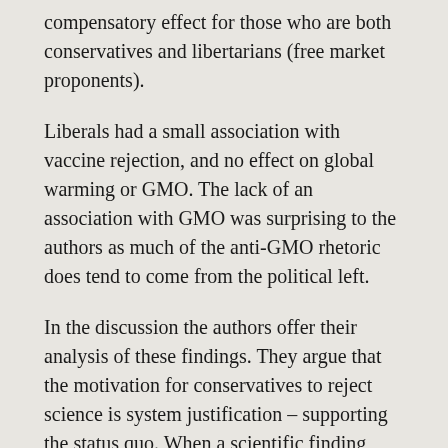compensatory effect for those who are both conservatives and libertarians (free market proponents).
Liberals had a small association with vaccine rejection, and no effect on global warming or GMO. The lack of an association with GMO was surprising to the authors as much of the anti-GMO rhetoric does tend to come from the political left.
In the discussion the authors offer their analysis of these findings. They argue that the motivation for conservatives to reject science is system justification – supporting the status quo. When a scientific finding challenges the status quo, as global warming appears to do, they reject it. But they are also accepting of science that supports the status quo, like vaccination.